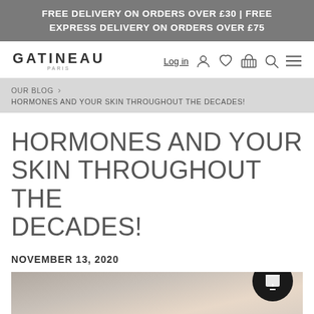FREE DELIVERY ON ORDERS OVER £30 | FREE EXPRESS DELIVERY ON ORDERS OVER £75
[Figure (logo): Gatineau Paris logo with navigation icons: Log in, user icon, heart icon, basket icon, search icon, menu icon]
OUR BLOG > HORMONES AND YOUR SKIN THROUGHOUT THE DECADES!
HORMONES AND YOUR SKIN THROUGHOUT THE DECADES!
NOVEMBER 13, 2020
[Figure (photo): Close-up photo of an older woman's face, showing eye area and skin detail, with a 'Your Rewards' overlay button]